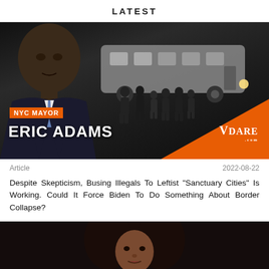LATEST
[Figure (photo): NYC Mayor Eric Adams stands in foreground in a suit; behind him a white bus with people boarding at night. Orange label reads NYC MAYOR, bold white text reads ERIC ADAMS. Orange triangle in bottom-right with VDARE logo.]
Article   2022-08-22
Despite Skepticism, Busing Illegals To Leftist “Sanctuary Cities” Is Working. Could It Force Biden To Do Something About Border Collapse?
[Figure (photo): Portrait of a Black woman with large curly hair against a dark background.]